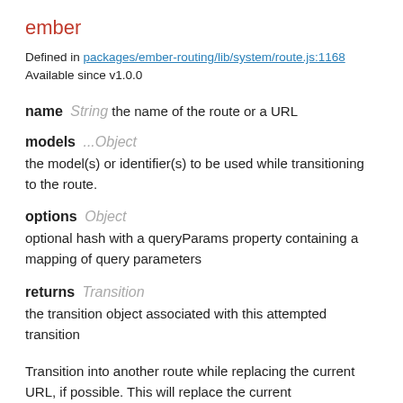ember
Defined in packages/ember-routing/lib/system/route.js:1168
Available since v1.0.0
name String  the name of the route or a URL
models ...Object
the model(s) or identifier(s) to be used while transitioning to the route.
options Object
optional hash with a queryParams property containing a mapping of query parameters
returns Transition
the transition object associated with this attempted transition
Transition into another route while replacing the current URL, if possible. This will replace the current